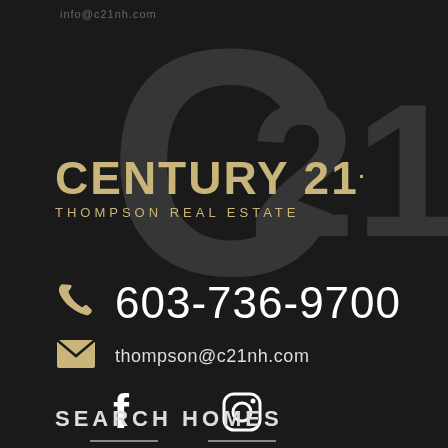info@c21nh.com
[Figure (logo): Century 21 logo with watermark C21 numeral in background]
CENTURY 21. THOMPSON REAL ESTATE
603-736-9700
thompson@c21nh.com
[Figure (illustration): Facebook and Instagram social media icons with underlines]
SEARCH HOMES